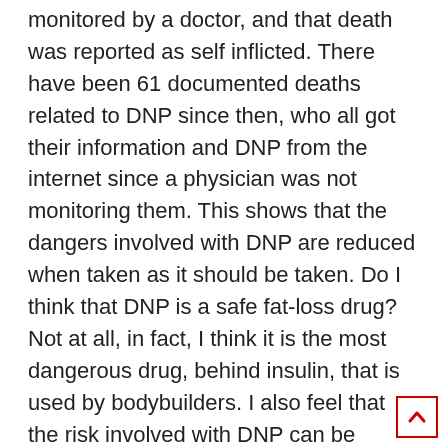monitored by a doctor, and that death was reported as self inflicted. There have been 61 documented deaths related to DNP since then, who all got their information and DNP from the internet since a physician was not monitoring them. This shows that the dangers involved with DNP are reduced when taken as it should be taken. Do I think that DNP is a safe fat-loss drug? Not at all, in fact, I think it is the most dangerous drug, behind insulin, that is used by bodybuilders. I also feel that the risk involved with DNP can be greatly reduced when the user has knowledge on how to take this substance and when there is no need to push the envelope with excessive doses. Any substance can cause problems when used in excess.
Acetaminophen has been reported to be responsible for 980 deaths a year when used in excess. DNP s a drug that has much less room for error than something like